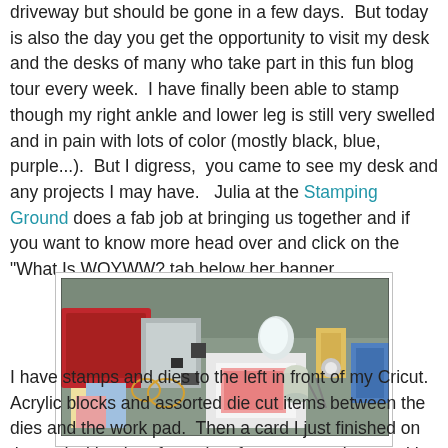driveway but should be gone in a few days.  But today is also the day you get the opportunity to visit my desk and the desks of many who take part in this fun blog tour every week.  I have finally been able to stamp though my right ankle and lower leg is still very swelled and in pain with lots of color (mostly black, blue, purple...).  But I digress,  you came to see my desk and any projects I may have.   Julia at the Stamping Ground does a fab job at bringing us together and if you want to know more head over and click on the "What Is WOYWW? tab below her banner.
[Figure (photo): A cluttered crafting desk with stamps, dies, papers, cardstock, sequins, scissors, and other craft supplies arranged on a work surface. A red Cricut machine is visible on the left side, with various craft materials covering the workspace.]
I have stamps and dies to the left in front of my Cricut. Acrylic blocks and assorted die cut items between the dies and the work pad.  Then a card I just finished on the pad with a jar of sequins, foam tape, scissors with it.  To the far right